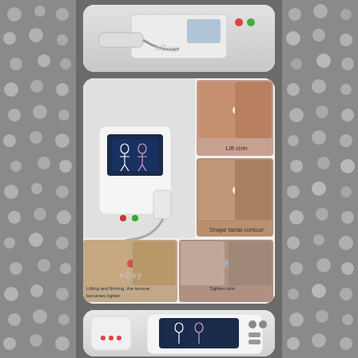[Figure (photo): eBay product listing image showing a HIFU ultrasound beauty machine with handpiece and cable on top card]
[Figure (photo): eBay product listing image showing HIFU machine with screen displaying body outlines, before/after photos of face lifting: Lift chin, Shape facial contour, Lifting and firming the texture becomes lighter, Tighten skin]
[Figure (photo): eBay product listing image showing HIFU machine with screen and handheld applicator at bottom]